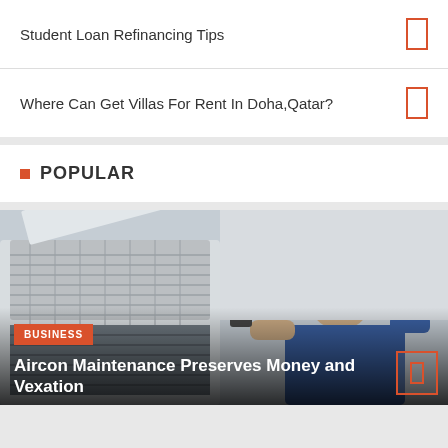Student Loan Refinancing Tips
Where Can Get Villas For Rent In Doha,Qatar?
POPULAR
[Figure (photo): A technician servicing an air conditioning unit, with the cover open showing internal components. Text overlay includes 'BUSINESS' badge and title 'Aircon Maintenance Preserves Money and Vexation'.]